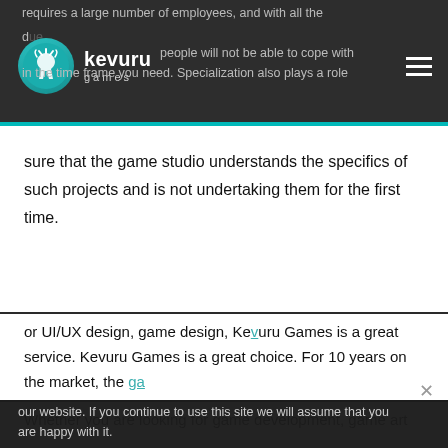requires a large number of employees, and with all the d… people will not be able to cope with… in the time frame you need. Specialization also plays a role
[Figure (logo): Kevuru Games logo — antelope/deer silhouette in teal circle with 'kevuru games' text]
sure that the game studio understands the specifics of such projects and is not undertaking them for the first time.
Conclusions
Let's Support Ukraine.
Whether you are looking for game development, game art or UI/UX design, game design, Kevuru Games is a great service. Kevuru Games is a great choice. For 10 years on the market, the game studio managed to work with the leading games of the market: Epic Games
We use cookies to ensure that we give you the best experience on our website. If you continue to use this site we will assume that you are happy with it.